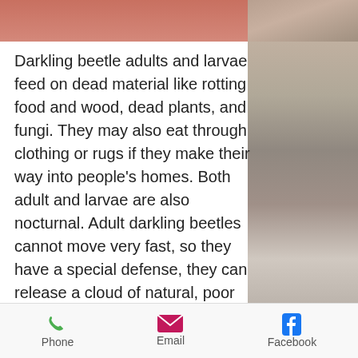[Figure (photo): Top banner image showing close-up of darkling beetle or related organism, reddish-brown tones on the left, natural background on the right]
Darkling beetle adults and larvae feed on dead material like rotting food and wood, dead plants, and fungi. They may also eat through clothing or rugs if they make their way into people's homes. Both adult and larvae are also nocturnal. Adult darkling beetles cannot move very fast, so they have a special defense, they can release a cloud of natural, poor smelling chemicals if threatened. Darkling beetles are very widespread and feed a lot of watershed critters like rodents, birds, and reptiles.
Habitat: Interestingly enough, the
[Figure (screenshot): Mobile app bottom navigation bar with Phone, Email, and Facebook icons]
Phone   Email   Facebook